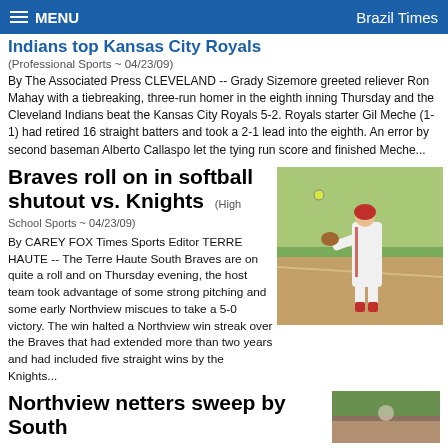MENU  Brazil Times
Indians top Kansas City Royals
(Professional Sports ~ 04/23/09)
By The Associated Press CLEVELAND -- Grady Sizemore greeted reliever Ron Mahay with a tiebreaking, three-run homer in the eighth inning Thursday and the Cleveland Indians beat the Kansas City Royals 5-2. Royals starter Gil Meche (1-1) had retired 16 straight batters and took a 2-1 lead into the eighth. An error by second baseman Alberto Callaspo let the tying run score and finished Meche...
Braves roll on in softball shutout vs. Knights
(High School Sports ~ 04/23/09)
[Figure (photo): Softball player in white uniform pitching or throwing, outdoors on a dirt/grass field]
By CAREY FOX Times Sports Editor TERRE HAUTE -- The Terre Haute South Braves are on quite a roll and on Thursday evening, the host team took advantage of some strong pitching and some early Northview miscues to take a 5-0 victory. The win halted a Northview win streak over the Braves that had extended more than two years and had included five straight wins by the Knights...
Northview netters sweep by South
[Figure (photo): Tennis or sports action photo, partially visible at bottom right]